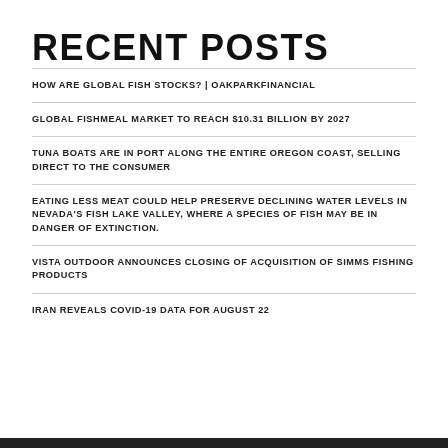RECENT POSTS
HOW ARE GLOBAL FISH STOCKS? | OAKPARKFINANCIAL
GLOBAL FISHMEAL MARKET TO REACH $10.31 BILLION BY 2027
TUNA BOATS ARE IN PORT ALONG THE ENTIRE OREGON COAST, SELLING DIRECT TO THE CONSUMER
EATING LESS MEAT COULD HELP PRESERVE DECLINING WATER LEVELS IN NEVADA'S FISH LAKE VALLEY, WHERE A SPECIES OF FISH MAY BE IN DANGER OF EXTINCTION.
VISTA OUTDOOR ANNOUNCES CLOSING OF ACQUISITION OF SIMMS FISHING PRODUCTS
IRAN REVEALS COVID-19 DATA FOR AUGUST 22